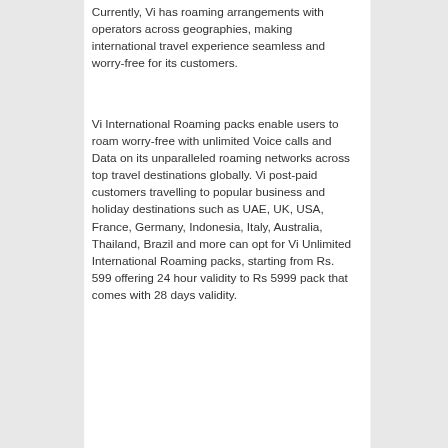Currently, Vi has roaming arrangements with operators across geographies, making international travel experience seamless and worry-free for its customers.
Vi International Roaming packs enable users to roam worry-free with unlimited Voice calls and Data on its unparalleled roaming networks across top travel destinations globally. Vi post-paid customers travelling to popular business and holiday destinations such as UAE, UK, USA, France, Germany, Indonesia, Italy, Australia, Thailand, Brazil and more can opt for Vi Unlimited International Roaming packs, starting from Rs. 599 offering 24 hour validity to Rs 5999 pack that comes with 28 days validity.
The 'Always On' feature on all Vi